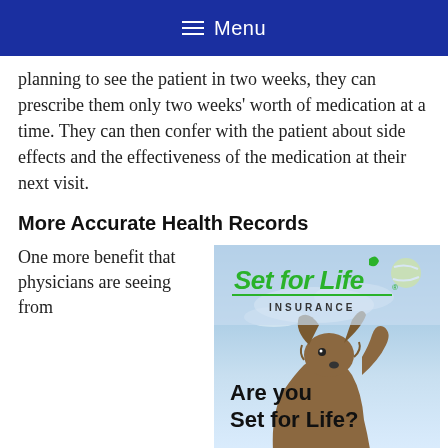Menu
planning to see the patient in two weeks, they can prescribe them only two weeks' worth of medication at a time. They can then confer with the patient about side effects and the effectiveness of the medication at their next visit.
More Accurate Health Records
One more benefit that physicians are seeing from
[Figure (advertisement): Set for Life Insurance advertisement showing a dog jumping for a tennis ball against a blue sky background. Text reads 'Set for Life INSURANCE' and 'Are you Set for Life?']